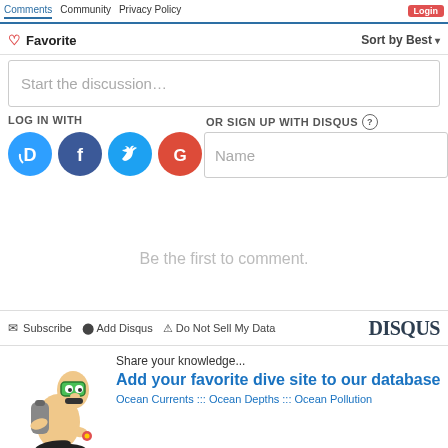Favorite  Sort by Best
Start the discussion…
LOG IN WITH
OR SIGN UP WITH DISQUS ?
[Figure (illustration): Social login icons: Disqus (blue circle with D), Facebook (dark blue circle with f), Twitter (light blue circle with bird), Google (red circle with G)]
Name
Be the first to comment.
Subscribe  Add Disqus  Do Not Sell My Data  DISQUS
[Figure (illustration): Cartoon scuba diver figure]
Share your knowledge...
Add your favorite dive site to our database
Ocean Currents ::: Ocean Depths ::: Ocean Pollution